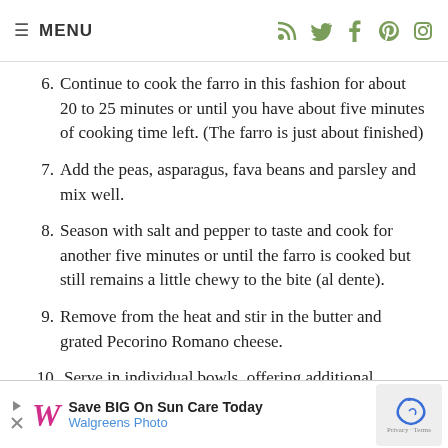≡ MENU
6. Continue to cook the farro in this fashion for about 20 to 25 minutes or until you have about five minutes of cooking time left. (The farro is just about finished)
7. Add the peas, asparagus, fava beans and parsley and mix well.
8. Season with salt and pepper to taste and cook for another five minutes or until the farro is cooked but still remains a little chewy to the bite (al dente).
9. Remove from the heat and stir in the butter and grated Pecorino Romano cheese.
10. Serve in individual bowls, offering additional grated cheese and cracked black pepper at t…